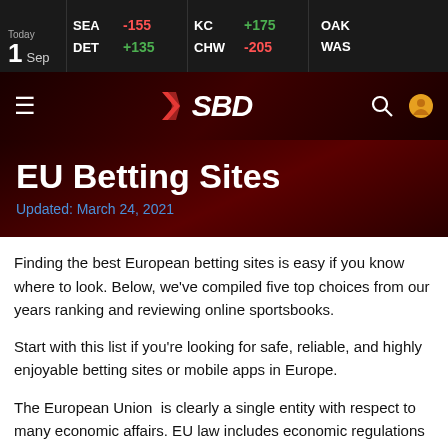Today 1 Sep | SEA -155 | DET +135 | KC +175 | CHW -205 | OAK | WAS
[Figure (logo): SBD logo with red chevron/X and white bold italic SBD text on dark red background, with hamburger menu, search and user icons]
EU Betting Sites
Updated: March 24, 2021
Finding the best European betting sites is easy if you know where to look. Below, we've compiled five top choices from our years ranking and reviewing online sportsbooks.
Start with this list if you're looking for safe, reliable, and highly enjoyable betting sites or mobile apps in Europe.
The European Union  is clearly a single entity with respect to many economic affairs. EU law includes economic regulations that each of the member states must abide by.
However, when it comes to sports betting, EU members